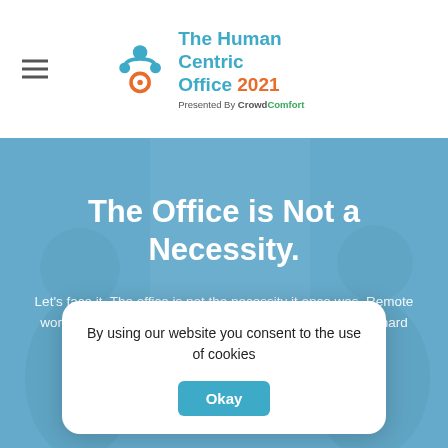The Human Centric Office 2021 Presented By CrowdComfort
[Figure (logo): The Human Centric Office 2021 logo with connected circles icon and CrowdComfort branding]
The Office is Not a Necessity.
Let's face it. The office is not the necessity it once was. Remote work has become popular among employees. We take a hard look at the future of the office experience.
By using our website you consent to the use of cookies